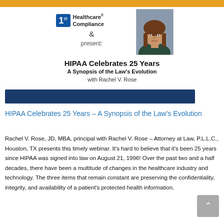[Figure (logo): 1st Healthcare Compliance logo with blue square containing '1st' text and 'Healthcare Compliance' text beside it]
[Figure (photo): Professional headshot photo of Rachel V. Rose, a woman with brown hair]
HIPAA Celebrates 25 Years
A Synopsis of the Law's Evolution
with Rachel V. Rose
HIPAA Celebrates 25 Years – A Synopsis of the Law's Evolution
Rachel V. Rose, JD, MBA, principal with Rachel V. Rose – Attorney at Law, P.L.L.C., Houston, TX presents this timely webinar. It's hard to believe that it's been 25 years since HIPAA was signed into law on August 21, 1996! Over the past two and a half decades, there have been a multitude of changes in the healthcare industry and technology. The three items that remain constant are preserving the confidentiality, integrity, and availability of a patient's protected health information.